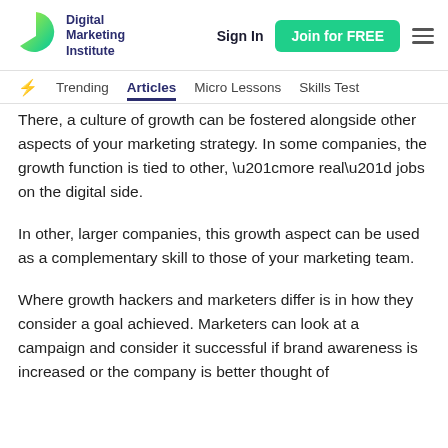Digital Marketing Institute — Sign In — Join for FREE — Trending — Articles — Micro Lessons — Skills Test
There, a culture of growth can be fostered alongside other aspects of your marketing strategy. In some companies, the growth function is tied to other, “more real” jobs on the digital side.
In other, larger companies, this growth aspect can be used as a complementary skill to those of your marketing team.
Where growth hackers and marketers differ is in how they consider a goal achieved. Marketers can look at a campaign and consider it successful if brand awareness is increased or the company is better thought of